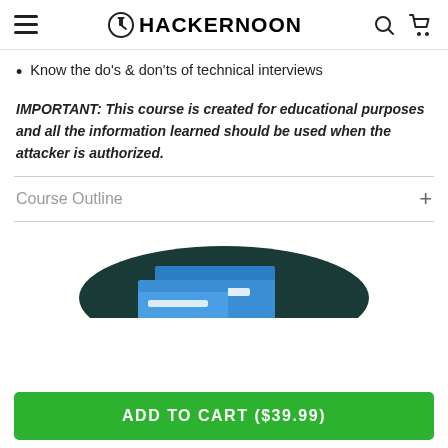HACKERNOON
Know the do's & don'ts of technical interviews
IMPORTANT: This course is created for educational purposes and all the information learned should be used when the attacker is authorized.
Course Outline
[Figure (illustration): Illustration showing a computer screen with a browser window on a dark teal organic-shaped background]
ADD TO CART ($39.99)